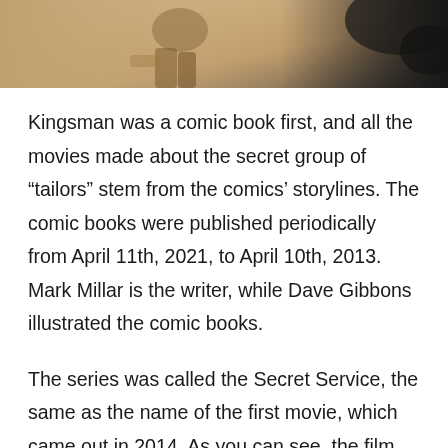[Figure (illustration): Top portion of a comic book illustration showing action scene with a figure, warm beige/brown tones with dark elements at edges]
Kingsman was a comic book first, and all the movies made about the secret group of “tailors” stem from the comics’ storylines. The comic books were published periodically from April 11th, 2021, to April 10th, 2013. Mark Millar is the writer, while Dave Gibbons illustrated the comic books.
The series was called the Secret Service, the same as the name of the first movie, which came out in 2014. As you can see, the film got out quite quickly. The producers recognized the potential for a movie hit after the comic books were critically acclaimed, and the readers enjoyed them.